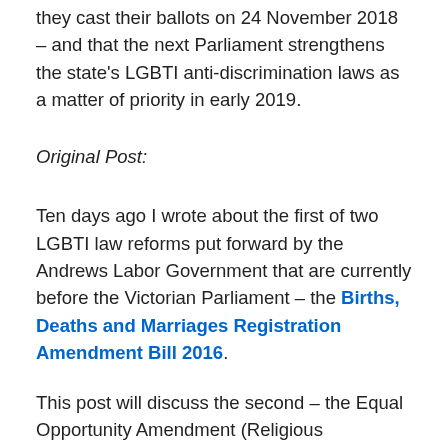they cast their ballots on 24 November 2018 – and that the next Parliament strengthens the state's LGBTI anti-discrimination laws as a matter of priority in early 2019.
Original Post:
Ten days ago I wrote about the first of two LGBTI law reforms put forward by the Andrews Labor Government that are currently before the Victorian Parliament – the Births, Deaths and Marriages Registration Amendment Bill 2016.
This post will discuss the second – the Equal Opportunity Amendment (Religious Exceptions) Bill 2016.